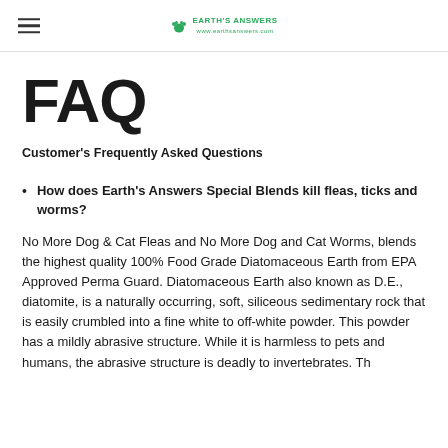Earth's Answers [logo]
FAQ
Customer's Frequently Asked Questions
How does Earth's Answers Special Blends kill fleas, ticks and worms?
No More Dog & Cat Fleas and No More Dog and Cat Worms, blends the highest quality 100% Food Grade Diatomaceous Earth from EPA Approved Perma Guard. Diatomaceous Earth also known as D.E., diatomite, is a naturally occurring, soft, siliceous sedimentary rock that is easily crumbled into a fine white to off-white powder. This powder has a mildly abrasive structure. While it is harmless to pets and humans, the abrasive structure is deadly to invertebrates. Th